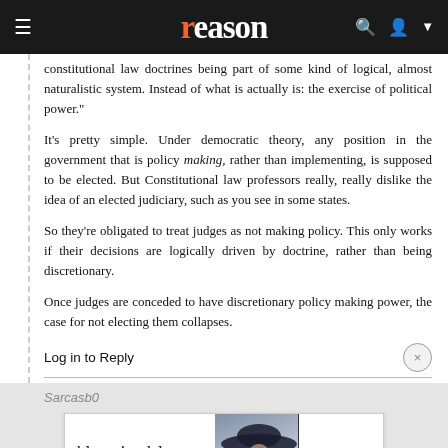reason
constitutional law doctrines being part of some kind of logical, almost naturalistic system. Instead of what is actually is: the exercise of political power."
It's pretty simple. Under democratic theory, any position in the government that is policy making, rather than implementing, is supposed to be elected. But Constitutional law professors really, really dislike the idea of an elected judiciary, such as you see in some states.
So they're obligated to treat judges as not making policy. This only works if their decisions are logically driven by doctrine, rather than being discretionary.
Once judges are conceded to have discretionary policy making power, the case for not electing them collapses.
Log in to Reply
Sarcasb0
[Figure (screenshot): Bloomingdale's advertisement banner: 'bloomingdales - View Today's Top Deals!' with a woman in a wide-brim hat and 'SHOP NOW >' button]
...that is to be elected